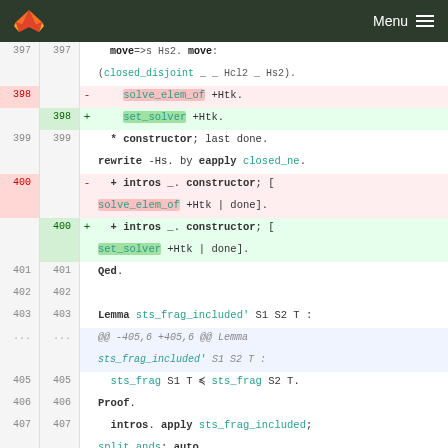Menu
397  397     move=>s Hs2. move:
(closed_disjoint _ _ Hcl2 _ Hs2).
398  -    solve_elem_of +Htk.
398  +    set_solver +Htk.
399  399   * constructor; last done.
         rewrite -Hs. by eapply closed_ne.
400  -   + intros _. constructor; [
         solve_elem_of +Htk | done].
400  +   + intros _. constructor; [
         set_solver +Htk | done].
401  401  Qed.
402  402
403  403  Lemma sts_frag_included' S1 S2 T :
...  ...  @@ -405,6 +405,6 @@ Lemma
         sts_frag_included' S1 S2 T :
405  405    sts_frag S1 T ≼ sts_frag S2 T.
406  406  Proof.
407  407    intros. apply sts_frag_included;
         split_ands; auto.
408  -   exists a; split_ands; done ||